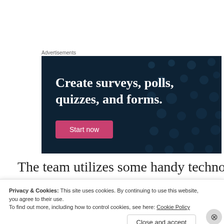Advertisements
[Figure (illustration): Advertisement banner with dark navy background with subtle dot pattern. Bold white serif text reads 'Create surveys, polls, quizzes, and forms.' with a pink/magenta 'Start now' button below.]
The team utilizes some handy technology in
Privacy & Cookies: This site uses cookies. By continuing to use this website, you agree to their use.
To find out more, including how to control cookies, see here: Cookie Policy
Close and accept